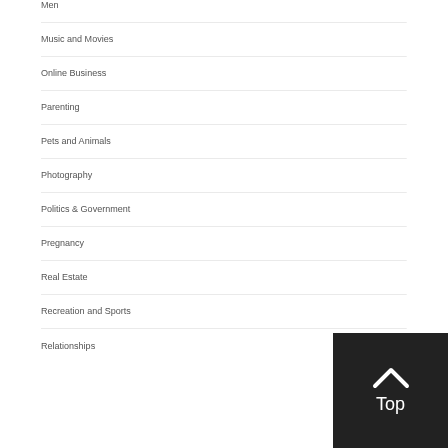Men
Music and Movies
Online Business
Parenting
Pets and Animals
Photography
Politics & Government
Pregnancy
Real Estate
Recreation and Sports
Relationships